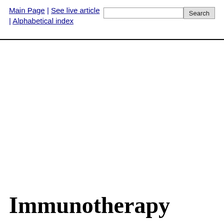Main Page | See live article | Alphabetical index
Immunotherapy